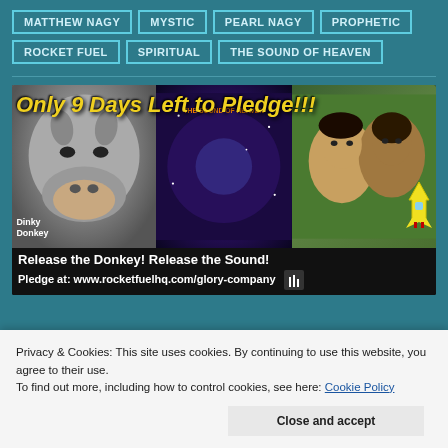MATTHEW NAGY
MYSTIC
PEARL NAGY
PROPHETIC
ROCKET FUEL
SPIRITUAL
THE SOUND OF HEAVEN
[Figure (photo): Promotional banner image showing a donkey face, an album cover for 'The Sound of Heaven', and a couple (man and woman) with text overlaid reading 'Only 9 Days Left to Pledge!!!' and a rocket icon. Bottom bar text: 'Release the Donkey! Release the Sound! Pledge at: www.rocketfuelhq.com/glory-company']
Privacy & Cookies: This site uses cookies. By continuing to use this website, you agree to their use. To find out more, including how to control cookies, see here: Cookie Policy
Close and accept